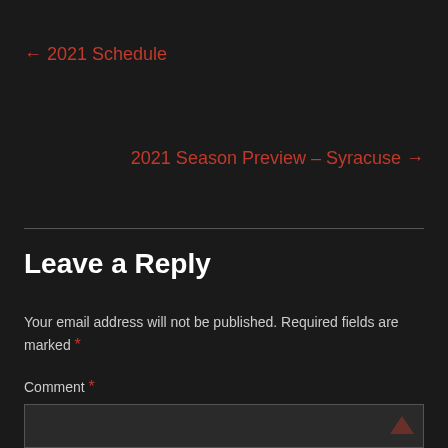← 2021 Schedule
2021 Season Preview – Syracuse →
Leave a Reply
Your email address will not be published. Required fields are marked *
Comment *